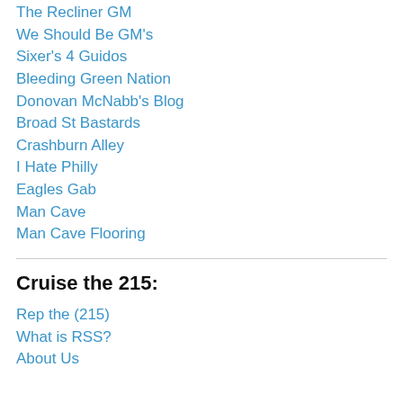The Recliner GM
We Should Be GM's
Sixer's 4 Guidos
Bleeding Green Nation
Donovan McNabb's Blog
Broad St Bastards
Crashburn Alley
I Hate Philly
Eagles Gab
Man Cave
Man Cave Flooring
Cruise the 215:
Rep the (215)
What is RSS?
About Us